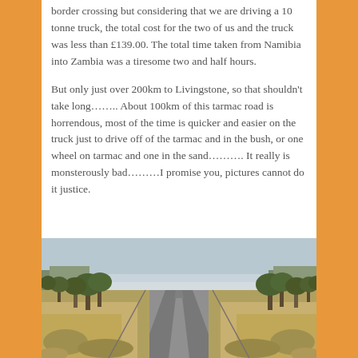border crossing but considering that we are driving a 10 tonne truck, the total cost for the two of us and the truck was less than £139.00. The total time taken from Namibia into Zambia was a tiresome two and half hours.
But only just over 200km to Livingstone, so that shouldn't take long…….. About 100km of this tarmac road is horrendous, most of the time is quicker and easier on the truck just to drive off of the tarmac and in the bush, or one wheel on tarmac and one in the sand………. It really is monsterously bad………I promise you, pictures cannot do it justice.
[Figure (photo): A straight road flanked by dry bush and trees on both sides, stretching into the distance under a hazy sky. The road surface appears worn and cracked.]